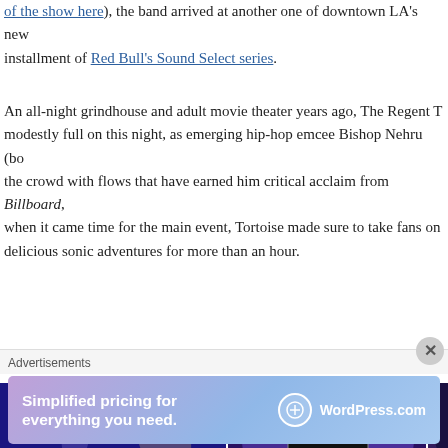of the show here), the band arrived at another one of downtown LA's new installment of Red Bull's Sound Select series.
An all-night grindhouse and adult movie theater years ago, The Regent T modestly full on this night, as emerging hip-hop emcee Bishop Nehru (bo the crowd with flows that have earned him critical acclaim from Billboard, when it came time for the main event, Tortoise made sure to take fans on delicious sonic adventures for more than an hour.
[Figure (photo): Marquee sign reading RED BULL SOUND SELECT PRESENTS: LOS ANGELES CURATED BY ARTDONTSLEEP with decorative light bulbs around the border, on dark blue background]
[Figure (photo): Band performing on stage with purple/blue lighting, several musicians visible at instruments including drums and keyboards, venue marquee visible in background]
[Figure (photo): Partial view of another concert photo, cropped at right edge]
Advertisements
[Figure (screenshot): WordPress.com advertisement: Simplified pricing for everything you need. with WordPress.com logo]